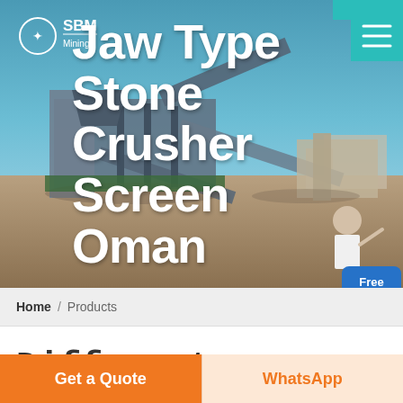[Figure (photo): Hero banner showing jaw type stone crusher machinery at a mining/quarry site in Oman, with industrial crushing and screening equipment on sandy ground against a blue sky]
Jaw Type Stone Crusher Screen Oman
Home / Products
Different Machines To Meet All Needs
Get a Quote
WhatsApp